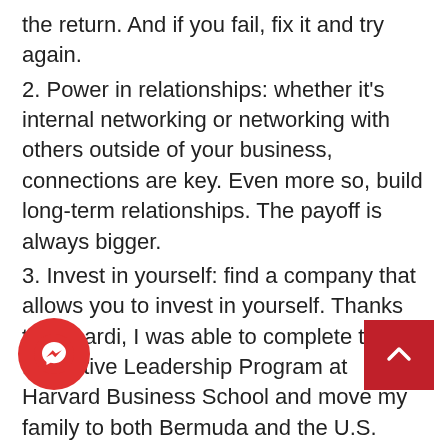the return. And if you fail, fix it and try again.
2. Power in relationships: whether it’s internal networking or networking with others outside of your business, connections are key. Even more so, build long-term relationships. The payoff is always bigger.
3. Invest in yourself: find a company that allows you to invest in yourself. Thanks to Bacardi, I was able to complete the Executive Leadership Program at Harvard Business School and move my family to both Bermuda and the U.S. Take any and all opportunities to better yourself.
4. Pay it forward: mentorship has been key throughout my career and I owe some of my own successes to other strong women and men in the industry.
the ride: be yourself and bring a level of lightness when moments are tense. This elevates the whole dynamic and builds a connection with everyone